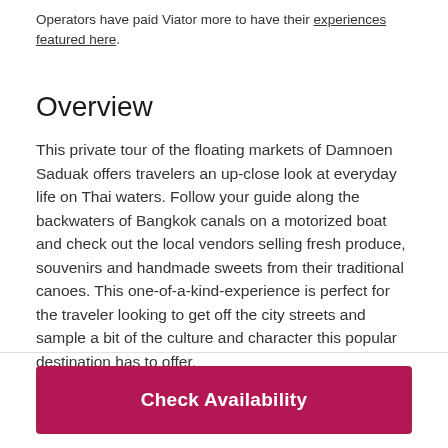Operators have paid Viator more to have their experiences featured here
Overview
This private tour of the floating markets of Damnoen Saduak offers travelers an up-close look at everyday life on Thai waters. Follow your guide along the backwaters of Bangkok canals on a motorized boat and check out the local vendors selling fresh produce, souvenirs and handmade sweets from their traditional canoes. This one-of-a-kind-experience is perfect for the traveler looking to get off the city streets and sample a bit of the culture and character this popular destination has to offer.
Check Availability